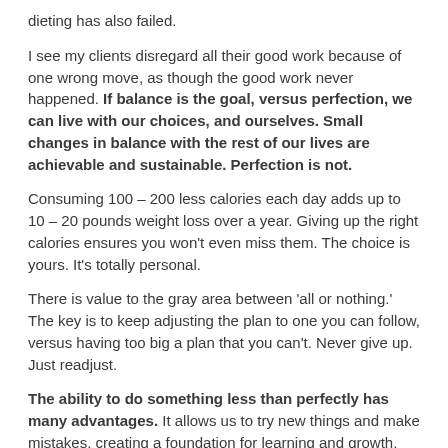dieting has also failed.
I see my clients disregard all their good work because of one wrong move, as though the good work never happened. If balance is the goal, versus perfection, we can live with our choices, and ourselves. Small changes in balance with the rest of our lives are achievable and sustainable. Perfection is not.
Consuming 100 – 200 less calories each day adds up to 10 – 20 pounds weight loss over a year. Giving up the right calories ensures you won't even miss them. The choice is yours. It's totally personal.
There is value to the gray area between 'all or nothing.' The key is to keep adjusting the plan to one you can follow, versus having too big a plan that you can't. Never give up. Just readjust.
The ability to do something less than perfectly has many advantages. It allows us to try new things and make mistakes, creating a foundation for learning and growth, potentially opening up new worlds. As far as entertaining goes, a less than perfect performance makes others feel quite comfortable.